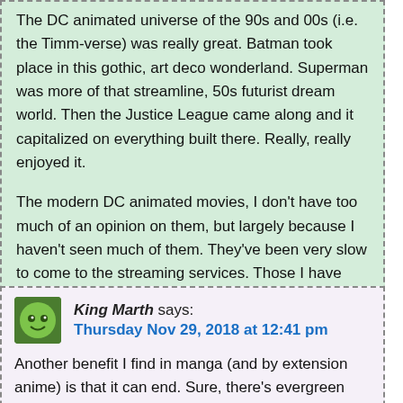The DC animated universe of the 90s and 00s (i.e. the Timm-verse) was really great. Batman took place in this gothic, art deco wonderland. Superman was more of that streamline, 50s futurist dream world. Then the Justice League came along and it capitalized on everything built there. Really, really enjoyed it.
The modern DC animated movies, I don't have too much of an opinion on them, but largely because I haven't seen much of them. They've been very slow to come to the streaming services. Those I have seen were interesting, but the writing was . . . spotty.
Reply
King Marth says:
Thursday Nov 29, 2018 at 12:41 pm
Another benefit I find in manga (and by extension anime) is that it can end. Sure, there's evergreen series which